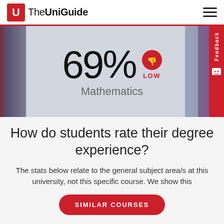[Figure (logo): TheUniGuide logo with red U bracket icon and text 'TheUniGuide']
[Figure (infographic): Hero banner showing 69% LOW rating with thumbs-down icon for Mathematics subject, over blurred background image]
How do students rate their degree experience?
The stats below relate to the general subject area/s at this university, not this specific course. We show this
SIMILAR COURSES